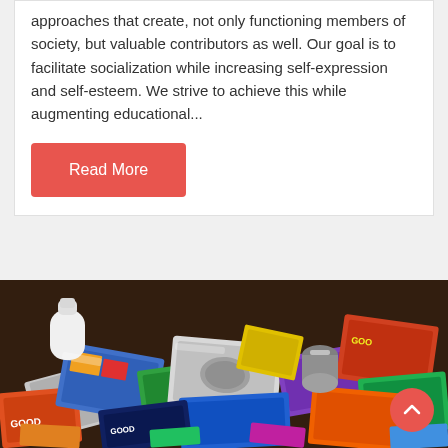approaches that create, not only functioning members of society, but valuable contributors as well. Our goal is to facilitate socialization while increasing self-expression and self-esteem. We strive to achieve this while augmenting educational...
Read More
[Figure (photo): A pile of colorful synthetic drug packages and paraphernalia including foil packages with cartoon characters, a white container, and other items on a dark background.]